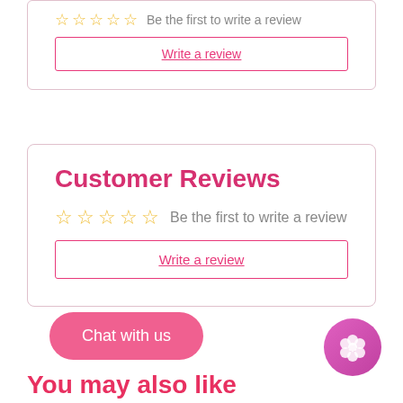☆☆☆☆☆  Be the first to write a review
Write a review
Customer Reviews
☆☆☆☆☆  Be the first to write a review
Write a review
Chat with us
You may also like